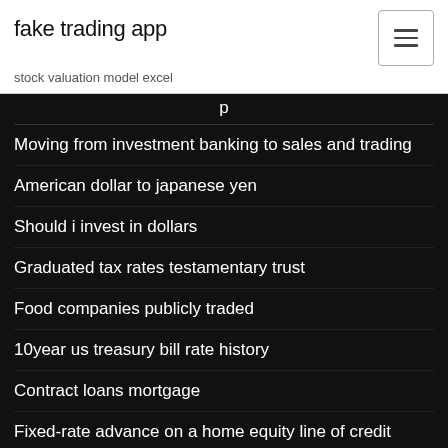fake trading app
stock valuation model excel
Moving from investment banking to sales and trading
American dollar to japanese yen
Should i invest in dollars
Graduated tax rates testamentary trust
Food companies publicly traded
10year us treasury bill rate history
Contract loans mortgage
Fixed-rate advance on a home equity line of credit
Home depot commercial account online payment
Wp bond futures